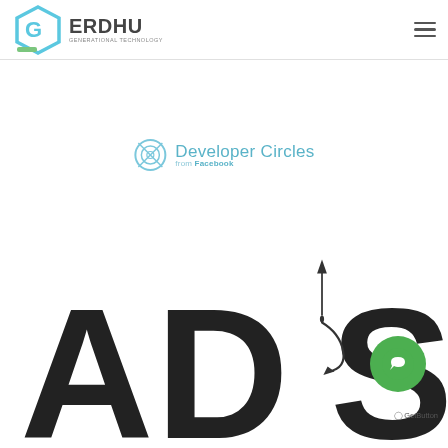GERDHU - GENERATIONAL TECHNOLOGY | Developer Circles from Facebook
[Figure (logo): Developer Circles from Facebook logo — circular icon in cyan/teal with text 'Developer Circles from Facebook']
[Figure (logo): Large bold 'ADS' text with a pen/quill nib icon integrated into the design, dark charcoal color]
[Figure (logo): WhatsApp floating button (green circle with chat icon) and GetButton label at bottom right]